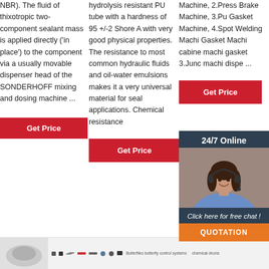NBR). The fluid of thixotropic two-component sealant mass is applied directly ('in place') to the component via a usually movable dispenser head of the SONDERHOFF mixing and dosing machine ...
Get Price
hydrolysis resistant PU tube with a hardness of 95 +/-2 Shore A with very good physical properties. The resistance to most common hydraulic fluids and oil-water emulsions makes it a very universal material for seal applications. Chemical resistance
Get Price
Machine, 2.Press Brake Machine, 3.Pu Gasket Machine, 4.Spot Welding Machi Gasket Machi cabine machi gasket 3.Junc machi dispe ...
Get Price
[Figure (screenshot): Chat popup overlay with '24/7 Online' header, photo of woman with headset, 'Click here for free chat!' text, and orange QUOTATION button]
[Figure (logo): TOP logo with arc of orange dots above bold italic orange TOP text]
Bottom bar with product image thumbnail, row of small icons, and text including 'Butterflies butterfly control systems' and 'chemical drums'